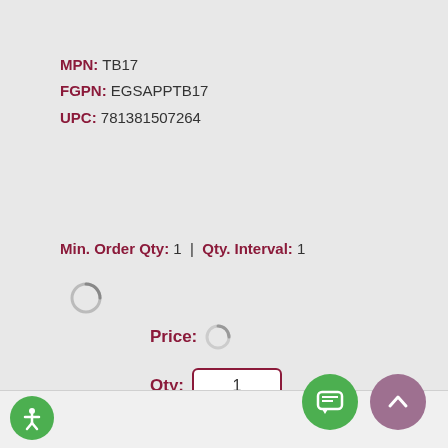MPN: TB17
FGPN: EGSAPPTB17
UPC: 781381507264
Min. Order Qty: 1 | Qty. Interval: 1
Price:
Qty:
ADD TO CART